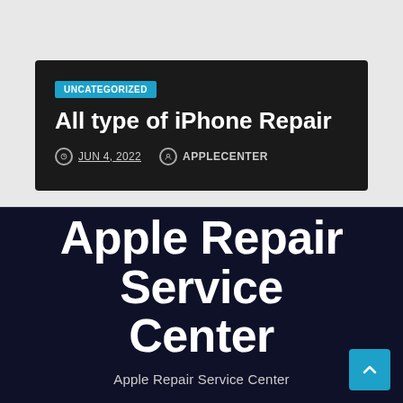UNCATEGORIZED
All type of iPhone Repair
JUN 4, 2022   APPLECENTER
Apple Repair Service Center
Apple Repair Service Center